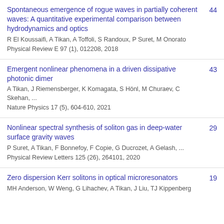Spontaneous emergence of rogue waves in partially coherent waves: A quantitative experimental comparison between hydrodynamics and optics | R El Koussaifi, A Tikan, A Toffoli, S Randoux, P Suret, M Onorato | Physical Review E 97 (1), 012208, 2018 | 44
Emergent nonlinear phenomena in a driven dissipative photonic dimer | A Tikan, J Riemensberger, K Komagata, S Hönl, M Churaev, C Skehan, ... | Nature Physics 17 (5), 604-610, 2021 | 43
Nonlinear spectral synthesis of soliton gas in deep-water surface gravity waves | P Suret, A Tikan, F Bonnefoy, F Copie, G Ducrozet, A Gelash, ... | Physical Review Letters 125 (26), 264101, 2020 | 29
Zero dispersion Kerr solitons in optical microresonators | MH Anderson, W Weng, G Lihachev, A Tikan, J Liu, TJ Kippenberg | 19